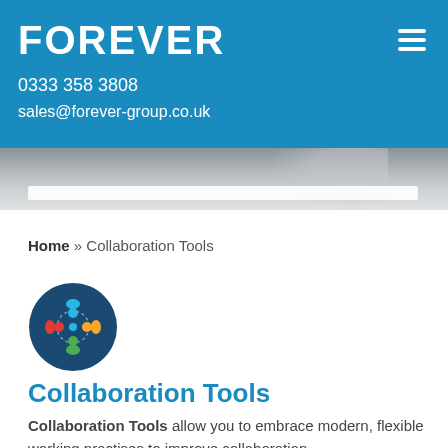FOREVER
0333 358 3808
sales@forever-group.co.uk
[Figure (screenshot): Hero image area showing a partial photo of a person working, with a white search bar overlay at the bottom]
Home » Collaboration Tools
[Figure (logo): Dark blue circle icon with colorful person figures (red, blue, yellow, green) connected by dotted lines representing collaboration]
Collaboration Tools
Collaboration Tools allow you to embrace modern, flexible working practises to improve collaboration